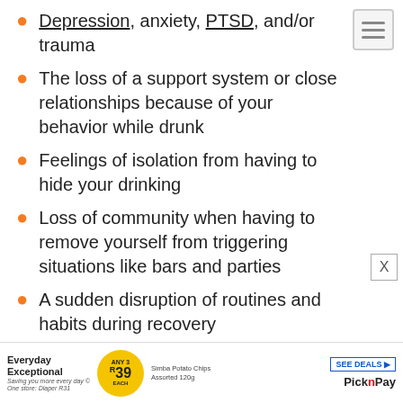Depression, anxiety, PTSD, and/or trauma
The loss of a support system or close relationships because of your behavior while drunk
Feelings of isolation from having to hide your drinking
Loss of community when having to remove yourself from triggering situations like bars and parties
A sudden disruption of routines and habits during recovery
The stigma surrounding alcoholism, forcing you to keep secrets or hide what's really going on
[Figure (other): Pick n Pay advertisement banner with 'Everyday Exceptional' branding, ANY 3 for R39 offer, Simba Potato Chips, and SEE DEALS button]